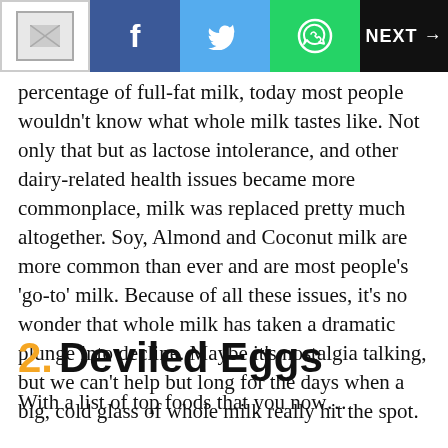NEXT →
percentage of full-fat milk, today most people wouldn't know what whole milk tastes like. Not only that but as lactose intolerance, and other dairy-related health issues became more commonplace, milk was replaced pretty much altogether. Soy, Almond and Coconut milk are more common than ever and are most people's 'go-to' milk. Because of all these issues, it's no wonder that whole milk has taken a dramatic plunge into decline. Maybe it's nostalgia talking, but we can't help but long for the days when a big, cold glass of whole milk really hit the spot.
2. Deviled Eggs
With a list of top foods that you now...